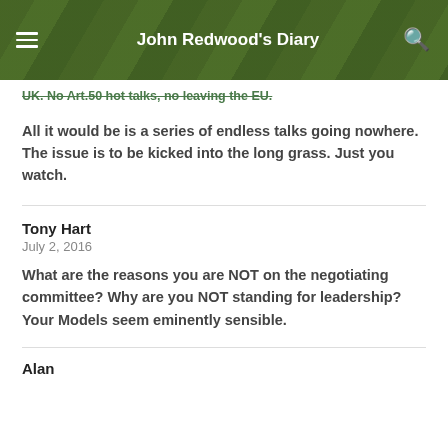John Redwood's Diary
UK. No Art.50 hot talks, no leaving the EU.
All it would be is a series of endless talks going nowhere. The issue is to be kicked into the long grass. Just you watch.
Tony Hart
July 2, 2016
What are the reasons you are NOT on the negotiating committee? Why are you NOT standing for leadership? Your Models seem eminently sensible.
Alan